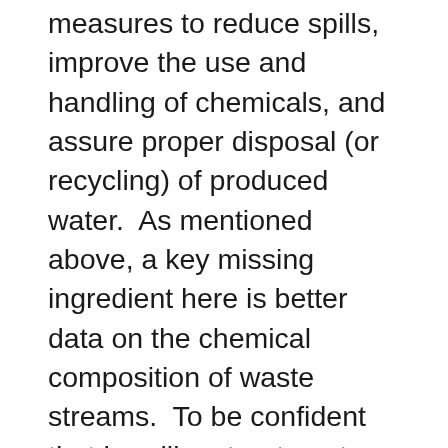measures to reduce spills, improve the use and handling of chemicals, and assure proper disposal (or recycling) of produced water.  As mentioned above, a key missing ingredient here is better data on the chemical composition of waste streams.  To be confident that handling, treatment and disposal practices are sufficient, authorities must know what substances are being handled. Finally, headline-grabbing reports of earthquakes connected to shale gas development have been linked to the waste disposal method known as deep well injection, not to hydraulic fracturing itself.  This issue points to the need for improved